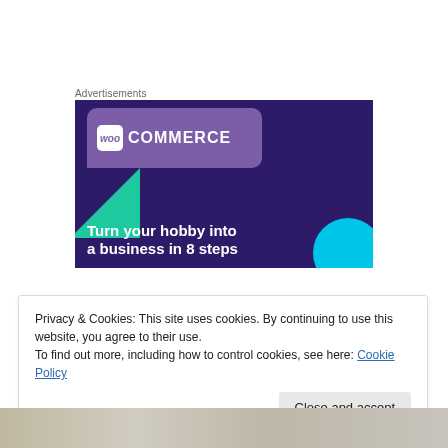Advertisements
[Figure (illustration): WooCommerce advertisement banner with dark purple background, purple speech bubble logo card with 'woo COMMERCE' text, green triangle shape on left, teal circle on bottom right, and white bold text reading 'Turn your hobby into a business in 8 steps']
Privacy & Cookies: This site uses cookies. By continuing to use this website, you agree to their use.
To find out more, including how to control cookies, see here: Cookie Policy
Close and accept